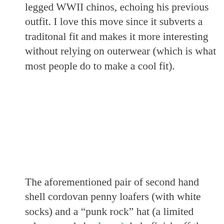legged WWII chinos, echoing his previous outfit. I love this move since it subverts a traditonal fit and makes it more interesting without relying on outerwear (which is what most people do to make a cool fit).
The aforementioned pair of second hand shell cordovan penny loafers (with white socks) and a “punk rock” hat (a limited release made by Jason), help finish off the fit. It’s an outfit that I think anyone can pull off!
[Figure (photo): Close-up photo of a person wearing a pink striped button-up shirt with a dark green suspender strap visible across the chest and shoulder area.]